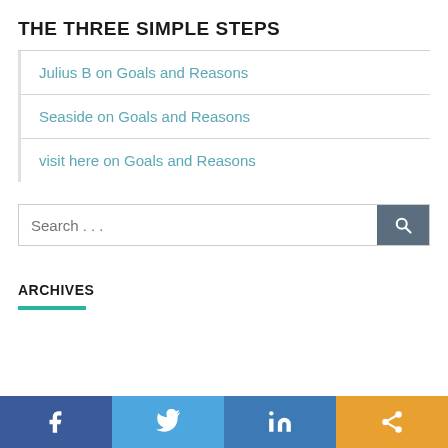THE THREE SIMPLE STEPS
Julius B on Goals and Reasons
Seaside on Goals and Reasons
visit here on Goals and Reasons
Search ...
ARCHIVES
[Figure (other): Social media share bar with Facebook, Twitter, LinkedIn, and share icons]